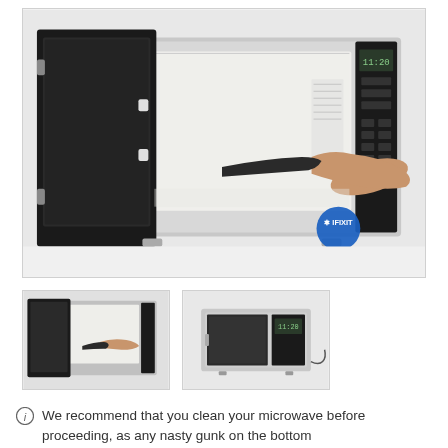[Figure (photo): Main large photo showing an open microwave oven with a person's hand reaching inside holding a dark object (tool or cleaning implement). The microwave is silver/white with a black door open to the left. An iFixit logo watermark is visible in the lower right of the image.]
[Figure (photo): Thumbnail photo 1: smaller version of the main image showing the open microwave with the hand reaching inside.]
[Figure (photo): Thumbnail photo 2: side view of the closed microwave oven showing a cable or wire connected to it.]
We recommend that you clean your microwave before proceeding, as any nasty gunk on the bottom